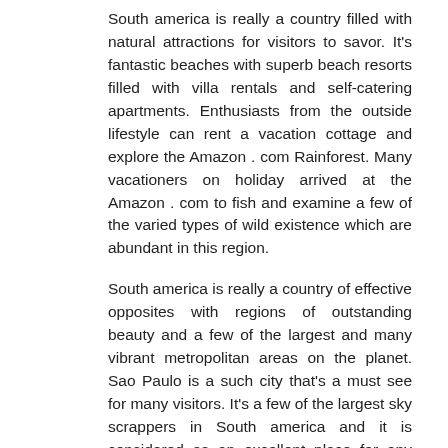South america is really a country filled with natural attractions for visitors to savor. It's fantastic beaches with superb beach resorts filled with villa rentals and self-catering apartments. Enthusiasts from the outside lifestyle can rent a vacation cottage and explore the Amazon . com Rainforest. Many vacationers on holiday arrived at the Amazon . com to fish and examine a few of the varied types of wild existence which are abundant in this region.
South america is really a country of effective opposites with regions of outstanding beauty and a few of the largest and many vibrant metropolitan areas on the planet. Sao Paulo is a such city that's a must see for many visitors. It's a few of the largest sky scrappers in South america and it is considered as an excellent place for any vacation. Vacationers remain in self-catering holiday homes and employ them as bases to understand more about this vast and various city.
Sao Paulo is really a city filled with great bars,